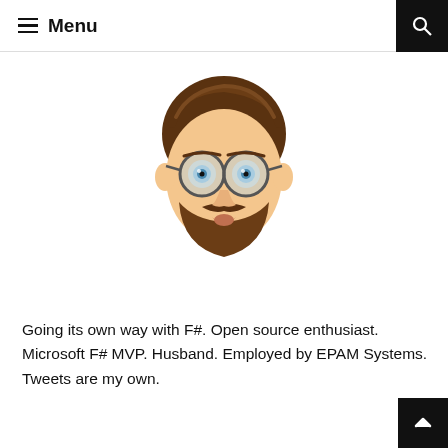≡ Menu
[Figure (illustration): Cartoon memoji avatar of a bearded man with round glasses, brown hair, open mouth, looking surprised]
Going its own way with F#. Open source enthusiast. Microsoft F# MVP. Husband. Employed by EPAM Systems. Tweets are my own.